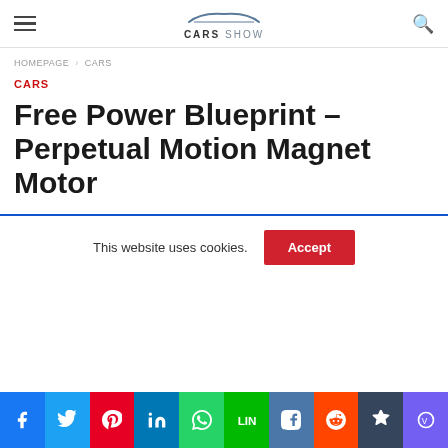CARS SHOW
HOMEPAGE › CARS
CARS
Free Power Blueprint – Perpetual Motion Magnet Motor
This website uses cookies. Accept